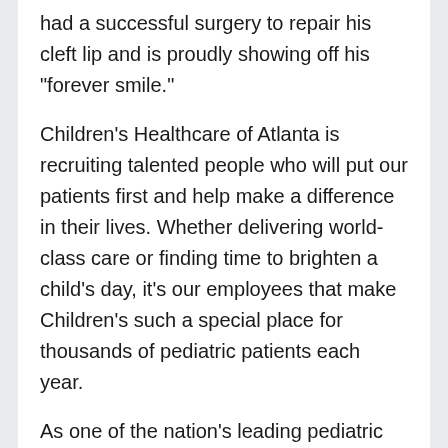had a successful surgery to repair his cleft lip and is proudly showing off his "forever smile."
Children's Healthcare of Atlanta is recruiting talented people who will put our patients first and help make a difference in their lives. Whether delivering world-class care or finding time to brighten a child's day, it's our employees that make Children's such a special place for thousands of pediatric patients each year.
As one of the nation's leading pediatric healthcare systems, every role at Children's is an important one. We all work together to provide the best possible care to the kids we serve. We also take care of each other. Children's offers a variety of resources and programs to support employees professionally and personally, which is one of the many reasons we